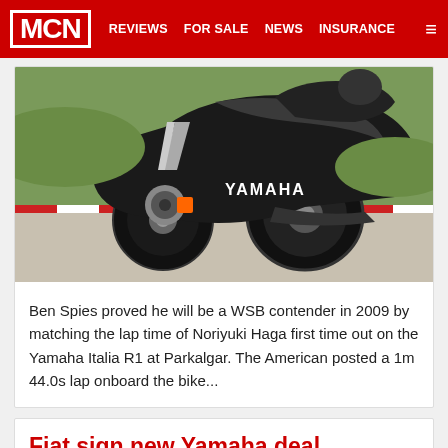MCN  REVIEWS  FOR SALE  NEWS  INSURANCE
[Figure (photo): Yamaha motorcycle (Yamaha Italia R1) on a race track, leaning in a corner, close-up of front wheel and fairing with YAMAHA branding visible]
Ben Spies proved he will be a WSB contender in 2009 by matching the lap time of Noriyuki Haga first time out on the Yamaha Italia R1 at Parkalgar. The American posted a 1m 44.0s lap onboard the bike...
Fiat sign new Yamaha deal
05 November 2008 by Matthew Birt
[Figure (photo): Partial view of a motorcycle rider, bottom of card cut off]